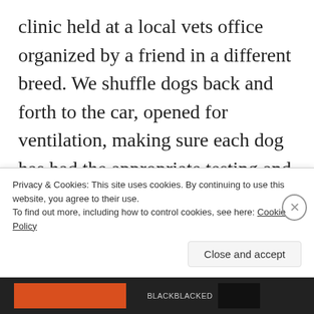clinic held at a local vets office organized by a friend in a different breed. We shuffle dogs back and forth to the car, opened for ventilation, making sure each dog has had the appropriate testing and all the paperwork has been returned to be sent off to the officiating registry. It
Privacy & Cookies: This site uses cookies. By continuing to use this website, you agree to their use. To find out more, including how to control cookies, see here: Cookie Policy
Close and accept